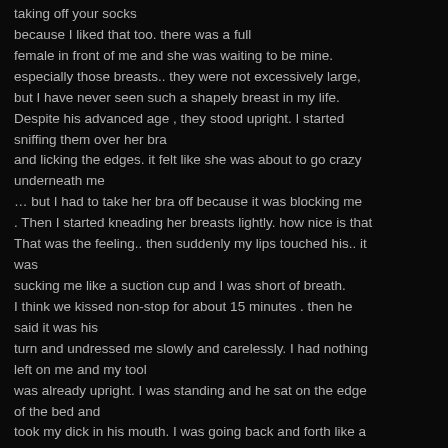taking off your socks because I liked that too. there was a full female in front of me and she was waiting to be mine. especially those breasts.. they were not excessively large, but I have never seen such a shapely breast in my life. Despite his advanced age , they stood upright. I started sniffing them over her bra and licking the edges. it felt like she was about to go crazy underneath me … but I had to take her bra off because it was blocking me . Then I started kneading her breasts lightly. how nice is that That was the feeling.. then suddenly my lips touched his.. it was sucking me like a suction cup and I was short of breath. I think we kissed non-stop for about 15 minutes . then he said it was his turn and undressed me slowly and carelessly. I had nothing left on me and my tool was already upright. I was standing and he sat on the edge of the bed and took my dick in his mouth. I was going back and forth like a tight pussy . the occasional bites seemed to harden my dick. I realized I couldn't take it anymore and I started squirting all over his face out of his mouth. but he had no intention of missing even a drop of my sperm . put what he couldn't catch in his mouth with his hand He was taking it, but he couldn't stop. He